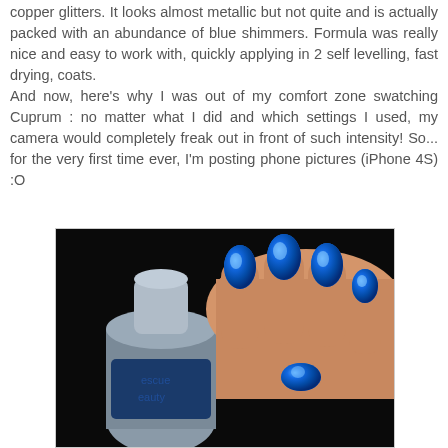Cuprum is a very vivid blue shimmer infused with very small copper glitters. It looks almost metallic but not quite and is actually packed with an abundance of blue shimmers. Formula was really nice and easy to work with, quickly applying in 2 self levelling, fast drying, coats. And now, here's why I was out of my comfort zone swatching Cuprum : no matter what I did and which settings I used, my camera would completely freak out in front of such intensity! So... for the very first time ever, I'm posting phone pictures (iPhone 4S) :O
[Figure (photo): Close-up photo of hand with bright metallic blue nail polish (Rescue Beauty Lounge Cuprum) on fingers, with nail polish bottle visible in foreground, against black background.]